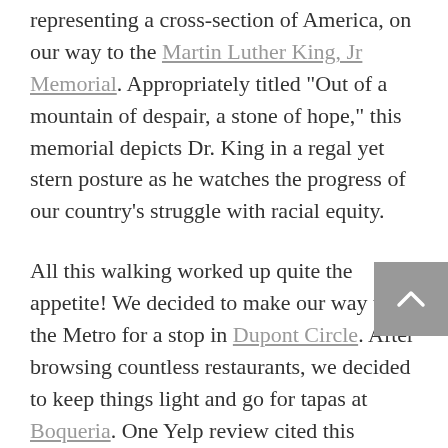representing a cross-section of America, on our way to the Martin Luther King, Jr Memorial. Appropriately titled “Out of a mountain of despair, a stone of hope,” this memorial depicts Dr. King in a regal yet stern posture as he watches the progress of our country’s struggle with racial equity.
All this walking worked up quite the appetite! We decided to make our way to the Metro for a stop in Dupont Circle. After browsing countless restaurants, we decided to keep things light and go for tapas at Boqueria. One Yelp review cited this restaurant as being great for people watching, and we could definitely see why, with its